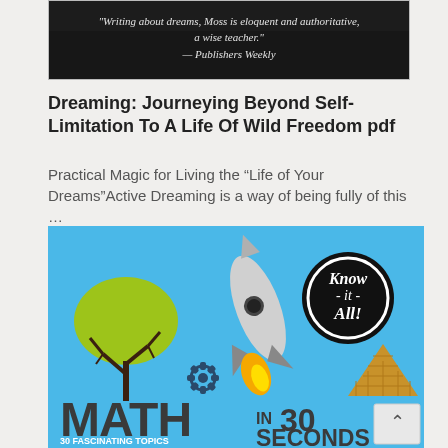[Figure (photo): Dark book cover image with text: 'Writing about dreams, Moss is eloquent and authoritative, a wise teacher.' — Publishers Weekly]
Dreaming: Journeying Beyond Self-Limitation To A Life Of Wild Freedom pdf
Practical Magic for Living the “Life of Your Dreams”Active Dreaming is a way of being fully of this …
[Figure (illustration): Book cover for 'Math in 30 Seconds: 30 Fascinating Topics for Math Masters Explained...' with colorful icons: rocket, tree, pyramid, gear, 'Know-it-All!' badge on blue background]